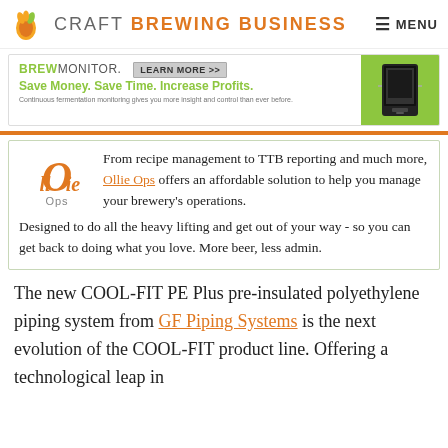CRAFT BREWING BUSINESS  MENU
[Figure (infographic): BrewMonitor advertisement banner with logo, tagline 'Save Money. Save Time. Increase Profits.', Learn More button, and device image on green background]
[Figure (logo): Ollie Ops logo - orange circular O with 'Ops' text]
From recipe management to TTB reporting and much more, Ollie Ops offers an affordable solution to help you manage your brewery's operations. Designed to do all the heavy lifting and get out of your way - so you can get back to doing what you love. More beer, less admin.
The new COOL-FIT PE Plus pre-insulated polyethylene piping system from GF Piping Systems is the next evolution of the COOL-FIT product line. Offering a technological leap in